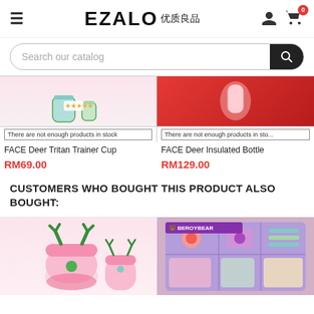EZALO 优质良品
[Figure (screenshot): Search bar with 'Search our catalog' placeholder and search icon button]
[Figure (photo): Product images: left shows FACE Deer Tritan Trainer Cup (green cups on pink background), right shows FACE Deer Insulated Bottle (red background)]
There are not enough products in stock
There are not enough products in sto...
FACE Deer Tritan Trainer Cup
RM69.00
FACE Deer Insulated Bottle
RM129.00
CUSTOMERS WHO BOUGHT THIS PRODUCT ALSO BOUGHT:
[Figure (photo): Bottom left: pink deer-themed bottle/cup with green antlers, and smaller cup beside it. Bottom right: BEROYBEAR branded product set in purple box.]